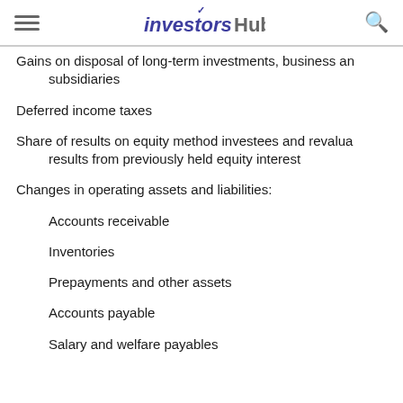investorsHub
Gains on disposal of long-term investments, business and subsidiaries
Deferred income taxes
Share of results on equity method investees and revaluation results from previously held equity interest
Changes in operating assets and liabilities:
Accounts receivable
Inventories
Prepayments and other assets
Accounts payable
Salary and welfare payables